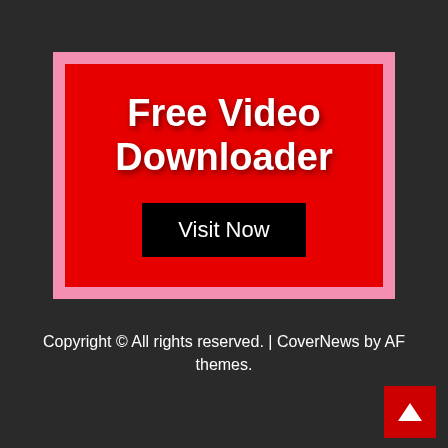[Figure (infographic): Red advertisement banner with pink border. White bold text reads 'Free Video Downloader' with a black 'Visit Now' button below.]
Copyright © All rights reserved. | CoverNews by AF themes.